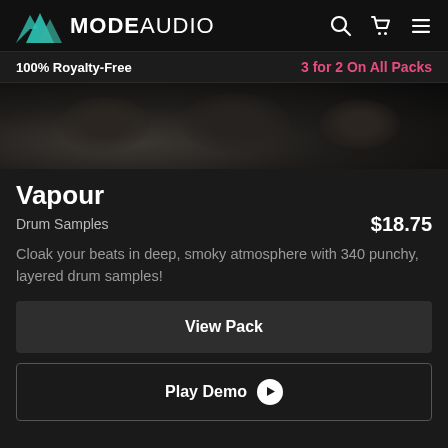MODE AUDIO — 100% Royalty-Free | 3 for 2 On All Packs
[Figure (photo): Dark atmospheric product banner image for 'Vapour' drum samples pack — dark smoky background]
Vapour
Drum Samples   $18.75
Cloak your beats in deep, smoky atmosphere with 340 punchy, layered drum samples!
View Pack
Play Demo
Rift